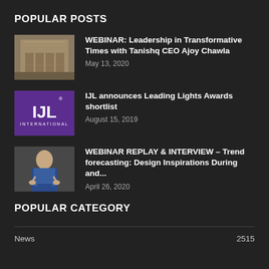POPULAR POSTS
[Figure (photo): Thumbnail photo of a building exterior (Tanishq store)]
WEBINAR: Leadership in Transformative Times with Tanishq CEO Ajoy Chawla
May 13, 2020
[Figure (logo): IJL International logo – white text on purple background]
IJL announces Leading Lights Awards shortlist
August 15, 2019
[Figure (photo): Thumbnail photo of a man in a suit with arms crossed]
WEBINAR REPLAY & INTERVIEW – Trend forecasting: Design Inspirations During and...
April 26, 2020
POPULAR CATEGORY
News    2515